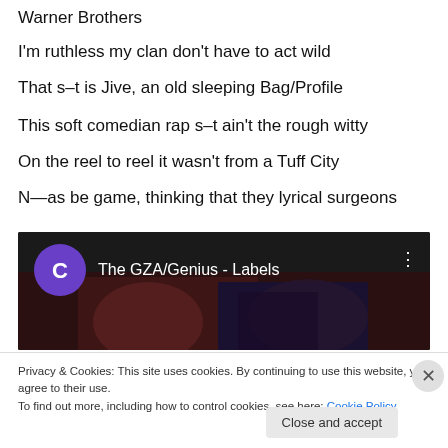Warner Brothers
I'm ruthless my clan don't have to act wild
That s–t is Jive, an old sleeping Bag/Profile
This soft comedian rap s–t ain't the rough witty
On the reel to reel it wasn't from a Tuff City
N—as be game, thinking that they lyrical surgeons
[Figure (screenshot): YouTube-style video embed showing 'The GZA/Genius - Labels' with a purple avatar circle with letter C, and dark thumbnail with musicians in the background]
Privacy & Cookies: This site uses cookies. By continuing to use this website, you agree to their use.
To find out more, including how to control cookies, see here: Cookie Policy